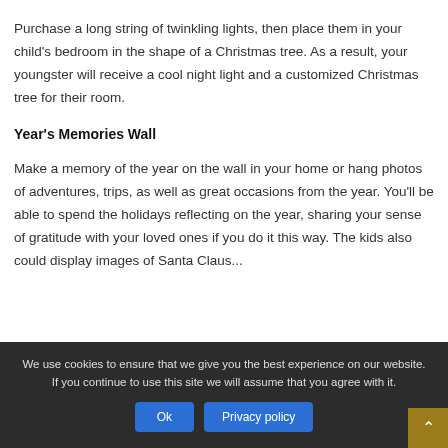Purchase a long string of twinkling lights, then place them in your child's bedroom in the shape of a Christmas tree. As a result, your youngster will receive a cool night light and a customized Christmas tree for their room.
Year's Memories Wall
Make a memory of the year on the wall in your home or hang photos of adventures, trips, as well as great occasions from the year. You'll be able to spend the holidays reflecting on the year, sharing your sense of gratitude with your loved ones if you do it this way. The kids also could display images of Santa Claus...
We use cookies to ensure that we give you the best experience on our website. If you continue to use this site we will assume that you agree with it.